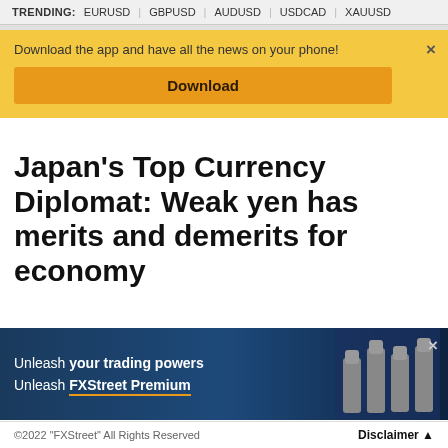TRENDING: EURUSD | GBPUSD | AUDUSD | USDCAD | XAUUSD
Download the app and have all the news on your phone!
Download
Japan's Top Currency Diplomat: Weak yen has merits and demerits for economy
[Figure (screenshot): FXStreet Premium advertisement banner with blue background showing raised fists and text: Unleash your trading powers Unleash FXStreet Premium]
©2022 "FXStreet" All Rights Reserved    Disclaimer ▲